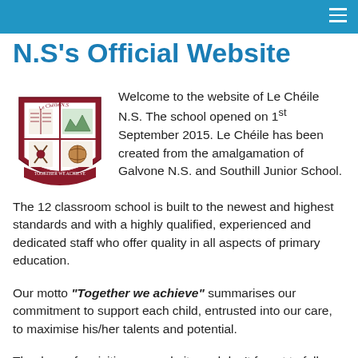N.S's Official Website
N.S's Official Website
[Figure (logo): Le Chéile N.S. school crest/shield logo with motto 'Together we achieve']
Welcome to the website of Le Chéile N.S. The school opened on 1st September 2015. Le Chéile has been created from the amalgamation of Galvone N.S. and Southill Junior School. The 12 classroom school is built to the newest and highest standards and with a highly qualified, experienced and dedicated staff who offer quality in all aspects of primary education.
Our motto "Together we achieve" summarises our commitment to support each child, entrusted into our care, to maximise his/her talents and potential.
Thank you for visiting our website and don't forget to follow